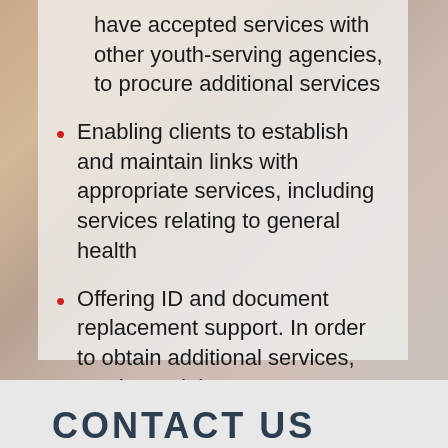have accepted services with other youth-serving agencies, to procure additional services
Enabling clients to establish and maintain links with appropriate services, including services relating to general health
Offering ID and document replacement support. In order to obtain additional services, youth need the necessary ID's & Documents
CONTACT US